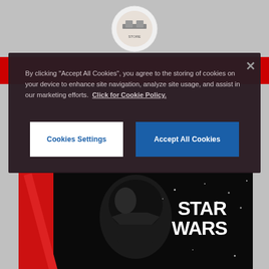[Figure (screenshot): Cookie consent modal dialog overlaying a webpage with a Star Wars product image. The modal has a dark maroon background with text about cookie policy, a close (X) button, a 'Cookies Settings' white button, and an 'Accept All Cookies' blue button. Behind the modal is a circular logo at top center, a red navigation bar, and a Star Wars Darth Vader product image at the bottom.]
By clicking "Accept All Cookies", you agree to the storing of cookies on your device to enhance site navigation, analyze site usage, and assist in our marketing efforts.  Click for Cookie Policy.